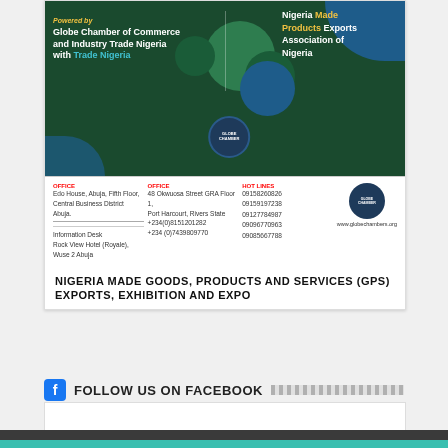[Figure (infographic): Globe Chamber of Commerce and Industry Trade Nigeria banner with Nigeria Made Products Exports Association of Nigeria. Green and blue decorative circles on dark green background. Contact details strip with office addresses, hotlines, and Globe Chamber logo. Offices: Edo House Abuja Fifth Floor Central Business District Abuja; 48 Okwuosa Street GRA Floor 1 Port Harcourt Rivers State; Hotlines: 09158260826, 09159197238, 09127784987, 09096770963, 09085667788; www.globechambers.org]
NIGERIA MADE GOODS, PRODUCTS AND SERVICES (GPS) EXPORTS, EXHIBITION AND EXPO
FOLLOW US ON FACEBOOK